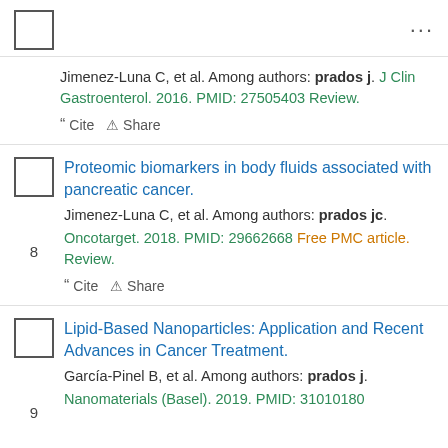☐ ...
Jimenez-Luna C, et al. Among authors: prados j. J Clin Gastroenterol. 2016. PMID: 27505403 Review.
Cite  Share
Proteomic biomarkers in body fluids associated with pancreatic cancer.
Jimenez-Luna C, et al. Among authors: prados jc. Oncotarget. 2018. PMID: 29662668 Free PMC article. Review.
Cite  Share
Lipid-Based Nanoparticles: Application and Recent Advances in Cancer Treatment.
García-Pinel B, et al. Among authors: prados j. Nanomaterials (Basel). 2019. PMID: 31010180